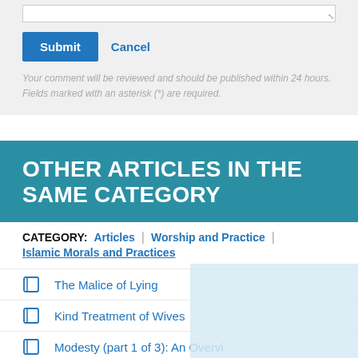(textarea/form area)
Submit
Cancel
Your comment will be reviewed and should be published within 24 hours.
Fields marked with an asterisk (*) are required.
OTHER ARTICLES IN THE SAME CATEGORY
CATEGORY:   Articles | Worship and Practice | Islamic Morals and Practices
The Malice of Lying
Kind Treatment of Wives
Modesty (part 1 of 3): An Overvi
Modesty (part 2 of 3): Stories or
Modesty (part 3 of 3): Stories or